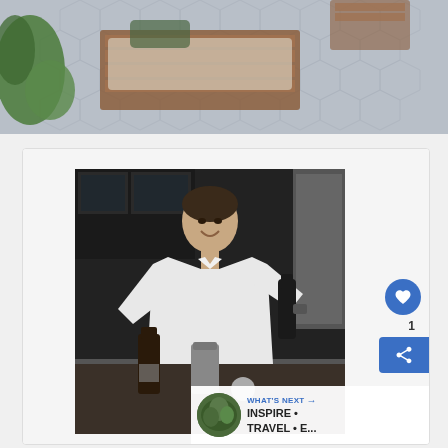[Figure (photo): Aerial/overhead view of an outdoor patio with hexagonal grey stone tiles, wooden slatted furniture (sofa), and tropical green plants]
[Figure (photo): Black and white photo of a smiling young man in a white dress shirt mixing a cocktail, pouring from a bottle into a cocktail shaker on a granite countertop in a dark kitchen]